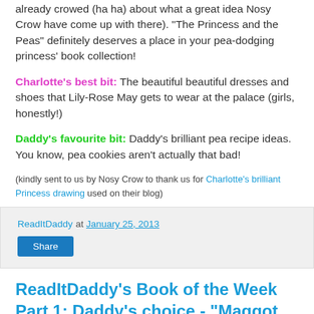already crowed (ha ha) about what a great idea Nosy Crow have come up with there). "The Princess and the Peas" definitely deserves a place in your pea-dodging princess' book collection!
Charlotte's best bit: The beautiful beautiful dresses and shoes that Lily-Rose May gets to wear at the palace (girls, honestly!)
Daddy's favourite bit: Daddy's brilliant pea recipe ideas. You know, pea cookies aren't actually that bad!
(kindly sent to us by Nosy Crow to thank us for Charlotte's brilliant Princess drawing used on their blog)
ReadItDaddy at January 25, 2013
Share
ReadItDaddy's Book of the Week Part 1: Daddy's choice - "Maggot Moon..."